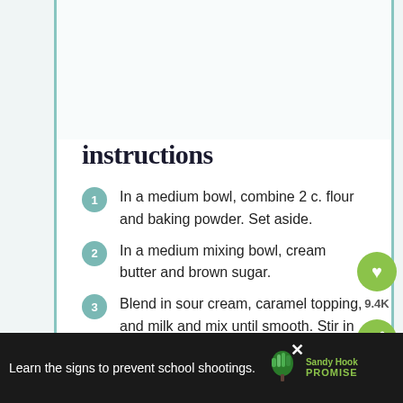instructions
In a medium bowl, combine 2 c. flour and baking powder. Set aside.
In a medium mixing bowl, cream butter and brown sugar.
Blend in sour cream, caramel topping, and milk and mix until smooth. Stir in egg and vanilla.
Add dry ingredients and mix just until
Learn the signs to prevent school shootings.